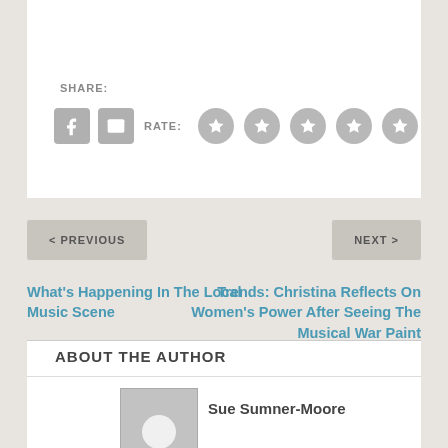SHARE:
[Figure (infographic): Share icons: Facebook (F) and email envelope, followed by RATE: label and 5 grey star rating circles]
< PREVIOUS
NEXT >
What's Happening In The Local Music Scene
Trends: Christina Reflects On Women's Power After Seeing The Musical War Paint
ABOUT THE AUTHOR
[Figure (photo): Grey placeholder avatar image with a white circle in the lower center, representing a person silhouette]
Sue Sumner-Moore